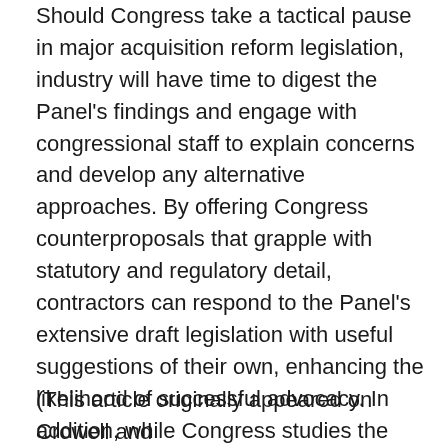Should Congress take a tactical pause in major acquisition reform legislation, industry will have time to digest the Panel's findings and engage with congressional staff to explain concerns and develop any alternative approaches.  By offering Congress counterproposals that grapple with statutory and regulatory detail, contractors can respond to the Panel's extensive draft legislation with useful suggestions of their own, enhancing the likelihood of successful advocacy. In addition, while Congress studies the Panel's recommendations for closer collaborations between DoD and industry, DoD can take some steps on its own.  As the Panel noted, candid, thoughtful discussions with DoD can be a helpful and informative practice.
(This article originally appeared on Crowell and